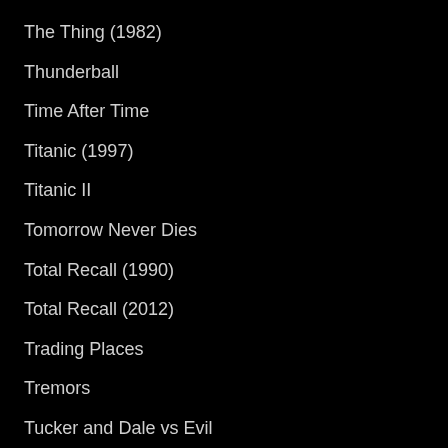The Thing (1982)
Thunderball
Time After Time
Titanic (1997)
Titanic II
Tomorrow Never Dies
Total Recall (1990)
Total Recall (2012)
Trading Places
Tremors
Tucker and Dale vs Evil
Vanishing Point